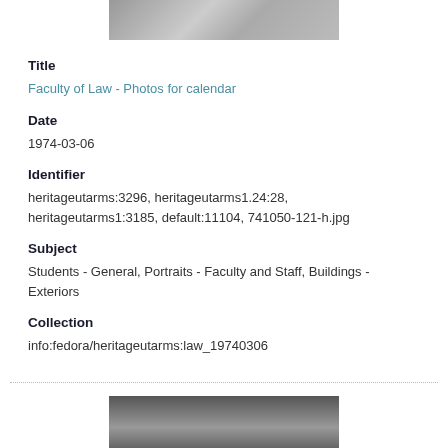[Figure (photo): Black and white photograph (top portion), partial view]
Title
Faculty of Law - Photos for calendar
Date
1974-03-06
Identifier
heritageutarms:3296, heritageutarms1.24:28, heritageutarms1:3185, default:11104, 741050-121-h.jpg
Subject
Students - General, Portraits - Faculty and Staff, Buildings - Exteriors
Collection
info:fedora/heritageutarms:law_19740306
[Figure (photo): Black and white photograph (bottom portion), partial view]